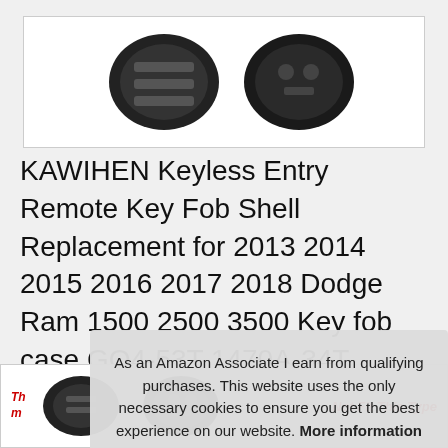[Figure (photo): Product photo area showing key fob silhouettes against white background]
KAWIHEN Keyless Entry Remote Key Fob Shell Replacement for 2013 2014 2015 2016 2017 2018 Dodge Ram 1500 2500 3500 Key fob case GQ4-53T 1470A-34T 56046953 56046953AC 56046953AE 56046953AGJust a Case
#ad
As an Amazon Associate I earn from qualifying purchases. This website uses the only necessary cookies to ensure you get the best experience on our website. More information
[Figure (photo): Bottom strip showing key fob product images with red warning text 'Not Fit This Type']